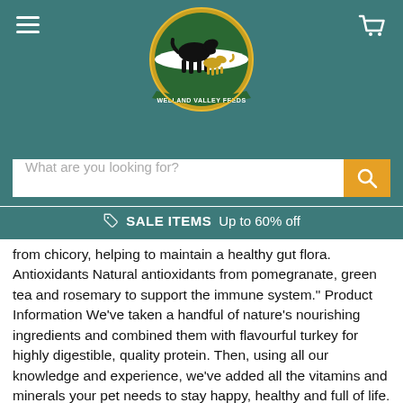[Figure (logo): Welland Valley Feeds circular logo with green and gold border, showing a black horse and golden dog silhouette on green background, with white banner text 'WELLAND VALLEY FEEDS']
What are you looking for?
SALE ITEMS  Up to 60% off
from chicory, helping to maintain a healthy gut flora. Antioxidants Natural antioxidants from pomegranate, green tea and rosemary to support the immune system." Product Information We've taken a handful of nature's nourishing ingredients and combined them with flavourful turkey for highly digestible, quality protein. Then, using all our knowledge and experience, we've added all the vitamins and minerals your pet needs to stay happy, healthy and full of life. Recommended for Complete Dry Dog Food for Small Breeds up to 10kg Adult Small Breed Aged 6 Months - 10 Years *The age your dog transitions to Adult food is dependent on their Adult weight. Ingredients Turkey meal (31.8%), pea starch (22%), potato flakes